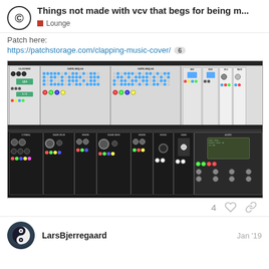Things not made with vcv that begs for being m... | Lounge
Patch here:
https://patchstorage.com/clapping-music-cover/  6
[Figure (screenshot): Screenshot of a VCV Rack modular synthesizer patch showing multiple modules across two rows. Top row contains light-colored modules including CLOCKED, GATE-SEQ-64 (x2), and other sequencer/utility modules with patch cables. Bottom row contains dark-colored modules including CYMBAL, SNARE DRUM, SPARK, SNARE DRUM, SPARK, MONO, MAIN, AUDIO modules with colorful patch cables.]
4 (heart icon) (link icon)
LarsBjerregaard   Jan '19